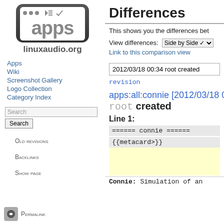[Figure (logo): apps.linuxaudio.org logo — rounded dark rectangle containing white panel with 'apps' text and titlebar buttons]
Apps
Wiki
Screenshot Gallery
Logo Collection
Category Index
Search (input) Search (button)
Old revisions
Backlinks
Show page
Permalink
Differences
This shows you the differences bet
View differences: Side by Side
Link to this comparison view
2012/03/18 00:34 root created
revision
apps:all:connie [2012/03/18 0
root created
Line 1:
====== connie ======
{{metacard>}}
- (yellow block)
Connie: Simulation of an